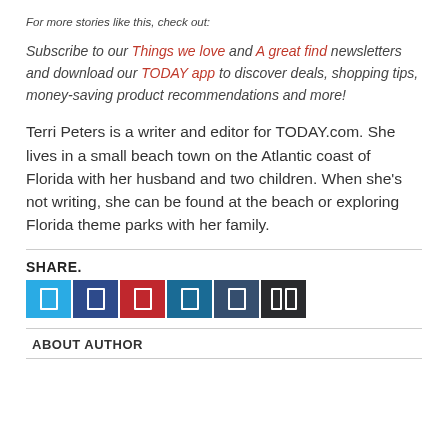For more stories like this, check out:
Subscribe to our Things we love and A great find newsletters and download our TODAY app to discover deals, shopping tips, money-saving product recommendations and more!
Terri Peters is a writer and editor for TODAY.com. She lives in a small beach town on the Atlantic coast of Florida with her husband and two children. When she’s not writing, she can be found at the beach or exploring Florida theme parks with her family.
SHARE.
[Figure (infographic): Row of six social media share buttons: Twitter (light blue), Facebook (dark blue), Pinterest (red), LinkedIn (dark teal), Tumblr (slate blue), More (near black)]
ABOUT AUTHOR